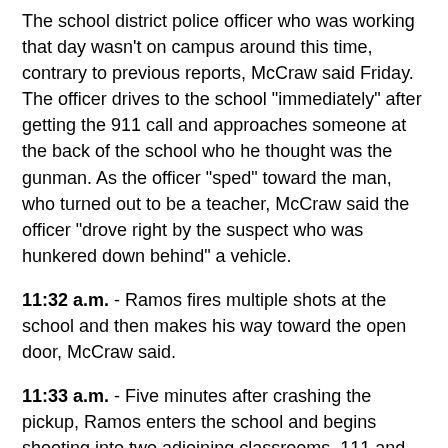The school district police officer who was working that day wasn't on campus around this time, contrary to previous reports, McCraw said Friday. The officer drives to the school “immediately” after getting the 911 call and approaches someone at the back of the school who he thought was the gunman. As the officer “sped” toward the man, who turned out to be a teacher, McCraw said the officer “drove right by the suspect who was hunkered down behind” a vehicle.
11:32 a.m. - Ramos fires multiple shots at the school and then makes his way toward the open door, McCraw said.
11:33 a.m. - Five minutes after crashing the pickup, Ramos enters the school and begins shooting into two adjoining classrooms, 111 and 112, McCraw said. He fires more than 100 rounds.
11:35 a.m. - Three city police officers enter the